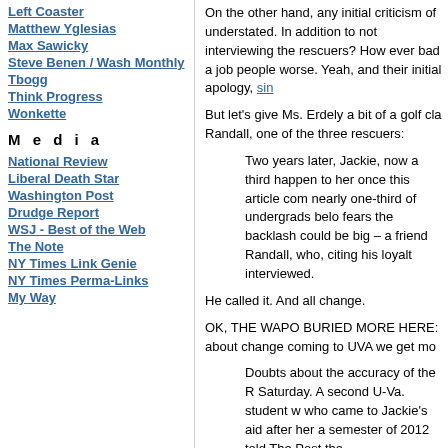Left Coaster
Matthew Yglesias
Max Sawicky
Steve Benen / Wash Monthly
Tbogg
Think Progress
Wonkette
M e d i a
National Review
Liberal Death Star
Washington Post
Drudge Report
WSJ - Best of the Web
The Note
NY Times Link Genie
NY Times Perma-Links
My Way
On the other hand, any initial criticism of understated. In addition to not interviewing the rescuers? How ever bad a job people worse. Yeah, and their initial apology, sin
But let's give Ms. Erdely a bit of a golf cla Randall, one of the three rescuers:
Two years later, Jackie, now a third happen to her once this article com nearly one-third of undergrads belo fears the backlash could be big – a friend Randall, who, citing his loyalt interviewed.
He called it. And all change.
OK, THE WAPO BURIED MORE HERE: about change coming to UVA we get mo
Doubts about the accuracy of the R Saturday. A second U-Va. student w who came to Jackie's aid after her a semester of 2012 told The Post tha